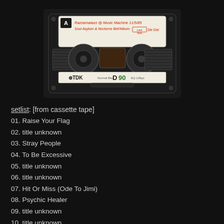[Figure (photo): A TDK D90 cassette tape with a white label on side A. Handwritten text on the label reads: 'Razzamatazz @ Music Machine 11/5/85 Soul Asylum & Nocturne Bell'Album (Last time) Die Dist'. The cassette is black against a dark background.]
setlist: [from cassette tape]
01. Raise Your Flag
02. title unknown
03. Stray People
04. To Be Excessive
05. title unknown
06. title unknown
07. Hit Or Miss (Ode To Jimi)
08. Psychic Healer
09. title unknown
10. title unknown